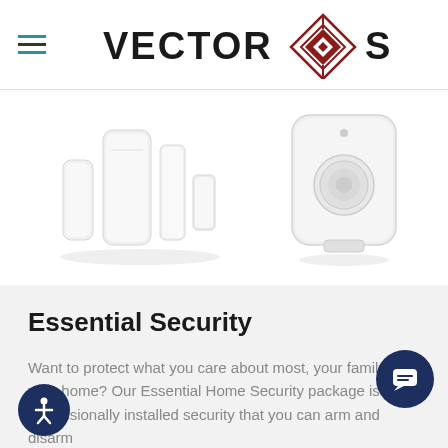[Figure (logo): Vector Security logo with hamburger menu icon on the left and the Vector Security wordmark with diamond geometric emblem in dark red in the center]
[Figure (photo): Two groups of white home security sensors: on the left, three door/window contact sensors of varying sizes; on the right, a white passive infrared (PIR) motion detector sensor]
Essential Security
Want to protect what you care about most, your family and your home? Our Essential Home Security package is professionally installed security that you can arm and disarm